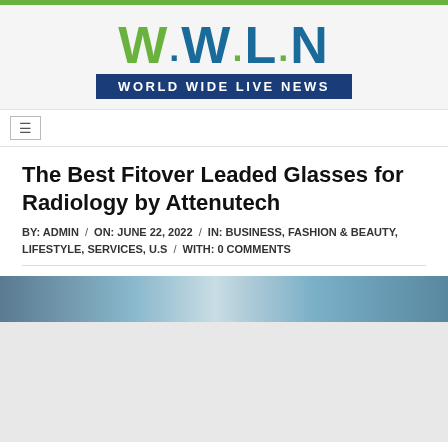W.W.L.N WORLD WIDE LIVE NEWS
The Best Fitover Leaded Glasses for Radiology by Attenutech
BY: ADMIN / ON: JUNE 22, 2022 / IN: BUSINESS, FASHION & BEAUTY, LIFESTYLE, SERVICES, U.S / WITH: 0 COMMENTS
[Figure (photo): Partial view of fitover leaded glasses or radiology-related product image, partially cropped at the top]
06/22/2022 – Lutz, Florida: At Attenutech, our company has the